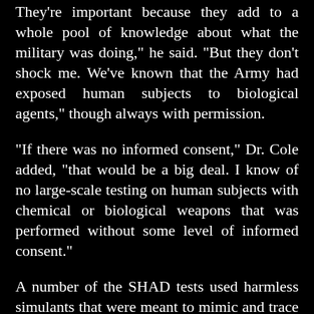They're important because they add to a whole pool of knowledge about what the military was doing," he said. "But they don't shock me. We've known that the Army had exposed human subjects to biological agents," though always with permission.
"If there was no informed consent," Dr. Cole added, "that would be a big deal. I know of no large-scale testing on human subjects with chemical or biological weapons that was performed without some level of informed consent."
A number of the SHAD tests used harmless simulants that were meant to mimic and trace the dissemination of real agents. But others used deadly chemicals and germs.
One test, named "Fearless Johnny," was carried out southwest of Honolulu during August and September of 1965. The C...